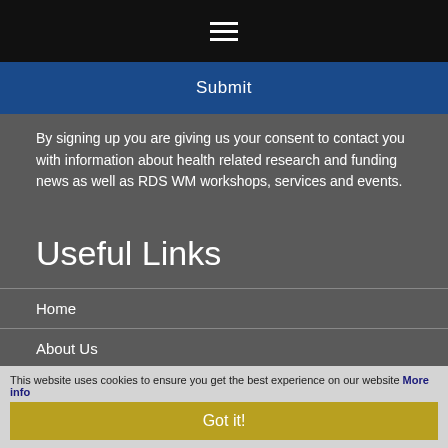[Figure (other): Hamburger menu icon (three horizontal white lines) on black bar]
Submit
By signing up you are giving us your consent to contact you with information about health related research and funding news as well as RDS WM workshops, services and events.
Useful Links
Home
About Us
Submit a Request
Public Involvement
Funding Streams
Resources
Events/Deadlines
News
This website uses cookies to ensure you get the best experience on our website More info
Got it!